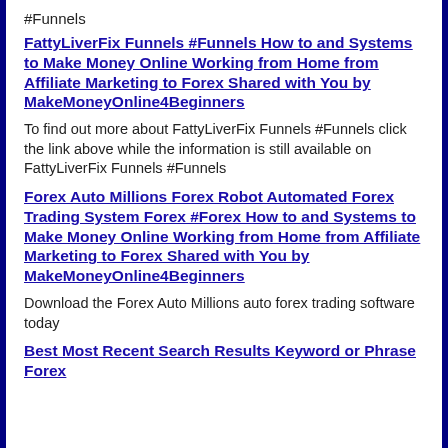#Funnels
FattyLiverFix Funnels #Funnels How to and Systems to Make Money Online Working from Home from Affiliate Marketing to Forex Shared with You by MakeMoneyOnline4Beginners
To find out more about FattyLiverFix Funnels #Funnels click the link above while the information is still available on FattyLiverFix Funnels #Funnels
Forex Auto Millions Forex Robot Automated Forex Trading System Forex #Forex How to and Systems to Make Money Online Working from Home from Affiliate Marketing to Forex Shared with You by MakeMoneyOnline4Beginners
Download the Forex Auto Millions auto forex trading software today
Best Most Recent Search Results Keyword or Phrase Forex